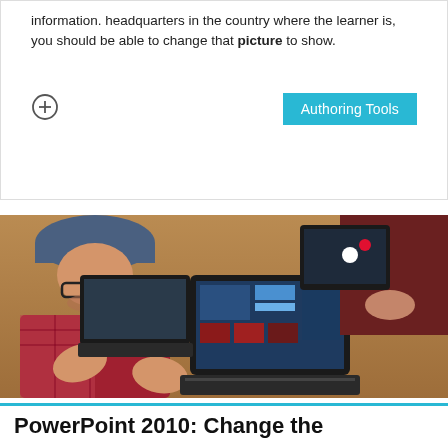information. headquarters in the country where the learner is, you should be able to change that picture to show.
[Figure (photo): Two people sitting at a wooden desk with laptops, one person wearing a cap and glasses gesturing with hands, another person in the background. A MacBook displaying a colorful interface is visible in the center.]
PowerPoint 2010: Change the